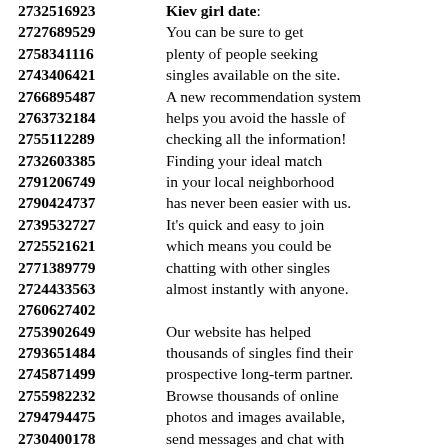2732516923 Kiev girl date: 2727689529 You can be sure to get 2758341116 plenty of people seeking 2743406421 singles available on the site. 2766895487 A new recommendation system 2763732184 helps you avoid the hassle of 2755112289 checking all the information! 2732603385 Finding your ideal match 2791206749 in your local neighborhood 2790424737 has never been easier with us. 2739532727 It's quick and easy to join 2725521621 which means you could be 2771389779 chatting with other singles 2724433563 almost instantly with anyone. 2760627402 2753902649 Our website has helped 2793651484 thousands of singles find their 2745871499 prospective long-term partner. 2755982232 Browse thousands of online 2794794475 photos and images available, 2730400178 send messages and chat with 2787500356 beautiful ladies who are 2797513169 ready to mingle and have fun. 2717803960 Members can get to know 2745553183 each other with respect 2773849589 ...